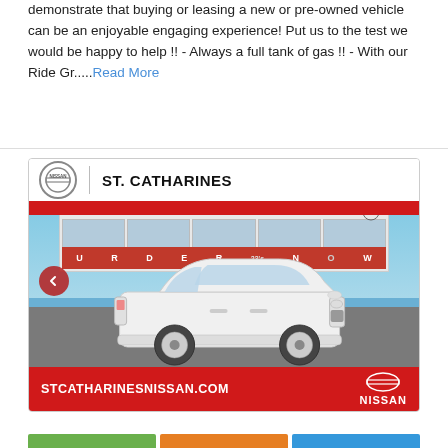demonstrate that buying or leasing a new or pre-owned vehicle can be an enjoyable engaging experience! Put us to the test we would be happy to help !! - Always a full tank of gas !! - With our Ride Gr.....Read More
[Figure (photo): Nissan St. Catharines dealership advertisement showing a white Nissan Rogue SUV parked in front of the St. Catharines Nissan dealership building. Red curved banner at top with Nissan logo and 'ST. CATHARINES' text. Red footer bar showing 'STCATHARINESNISSAN.COM' and Nissan logo.]